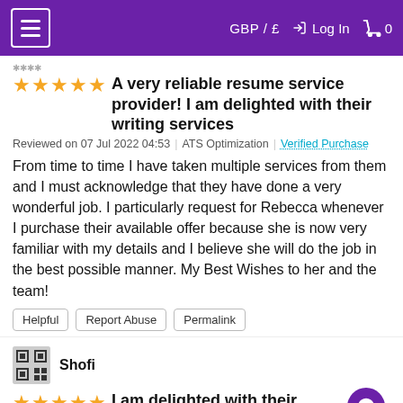GBP / £  → Log In  🛒 0
★★★★★  A very reliable resume service provider! I am delighted with their writing services
Reviewed on 07 Jul 2022 04:53  |  ATS Optimization  |  Verified Purchase
From time to time I have taken multiple services from them and I must acknowledge that they have done a very wonderful job. I particularly request for Rebecca whenever I purchase their available offer because she is now very familiar with my details and I believe she will do the job in the best possible manner. My Best Wishes to her and the team!
Helpful  Report Abuse  Permalink
Shofi
★★★★★  I am delighted with their writing servic…
Reviewed on 07 Jul 2022 04:51  |  Personal Statement  |  Verified